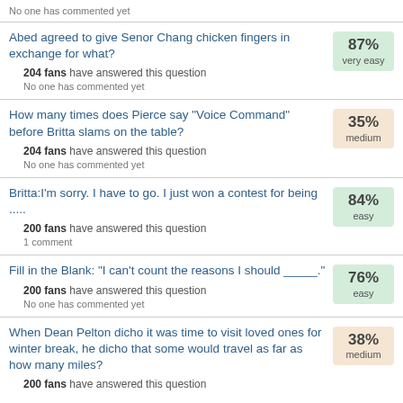No one has commented yet
Abed agreed to give Senor Chang chicken fingers in exchange for what?
204 fans have answered this question
No one has commented yet
87% very easy
How many times does Pierce say "Voice Command" before Britta slams on the table?
204 fans have answered this question
No one has commented yet
35% medium
Britta:I'm sorry. I have to go. I just won a contest for being .....
200 fans have answered this question
1 comment
84% easy
Fill in the Blank: "I can't count the reasons I should _____."
200 fans have answered this question
No one has commented yet
76% easy
When Dean Pelton dicho it was time to visit loved ones for winter break, he dicho that some would travel as far as how many miles?
200 fans have answered this question
38% medium